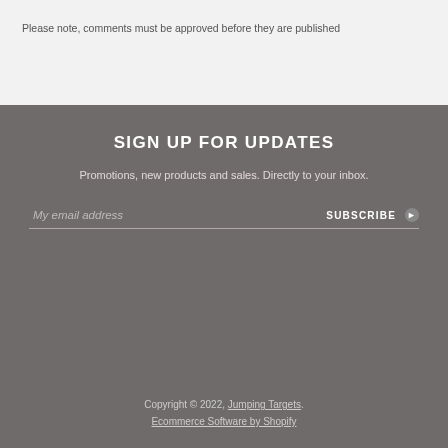Please note, comments must be approved before they are published
SIGN UP FOR UPDATES
Promotions, new products and sales. Directly to your inbox.
My email address
SUBSCRIBE
Copyright © 2022, Jumping Targets. Ecommerce Software by Shopify